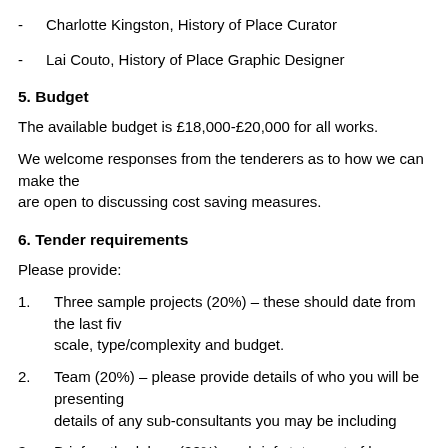Charlotte Kingston, History of Place Curator
Lai Couto, History of Place Graphic Designer
5. Budget
The available budget is £18,000-£20,000 for all works.
We welcome responses from the tenderers as to how we can make the are open to discussing cost saving measures.
6. Tender requirements
Please provide:
Three sample projects (20%) – these should date from the last five scale, type/complexity and budget.
Team (20%) – please provide details of who you will be presenting details of any sub-consultants you may be including
Brief methodology (20%) – a brief statement of how you will achie